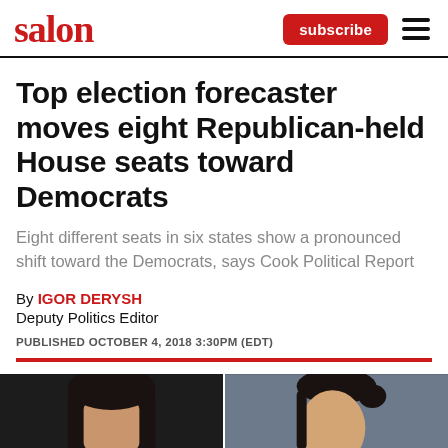salon
Top election forecaster moves eight Republican-held House seats toward Democrats
Eight different seats in six states show a pronounced shift toward the Democrats, says Cook Political Report
By IGOR DERYSH
Deputy Politics Editor
PUBLISHED OCTOBER 4, 2018 3:30PM (EDT)
[Figure (photo): Two-panel photo showing two political figures side by side, partially cropped at bottom of page]